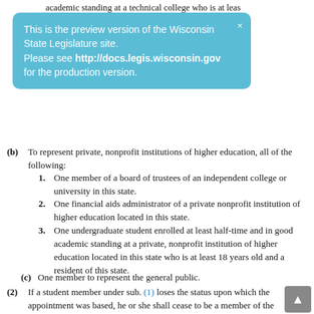academic standing at a technical college who is at least 18 years old and a resident of this state.
(b) To represent private, nonprofit institutions of higher education, all of the following:
1. One member of a board of trustees of an independent college or university in this state.
2. One financial aids administrator of a private nonprofit institution of higher education located in this state.
3. One undergraduate student enrolled at least half-time and in good academic standing at a private, nonprofit institution of higher education located in this state who is at least 18 years old and a resident of this state.
(c) One member to represent the general public.
(2) If a student member under sub. (1) loses the status upon which the appointment was based, he or she shall cease to be a member of the higher educational aids board upon appointment to the higher educational aids board of a qualified successor.
[Figure (screenshot): Light blue preview banner overlay: 'This is the preview version of the Wisconsin State Legislature site. Please see http://docs.legis.wisconsin.gov for the production version.']